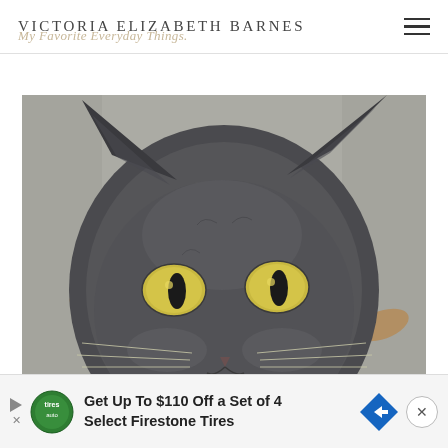Victoria Elizabeth Barnes
My Favorite Everyday Things.
[Figure (photo): Close-up photograph of a grey cat with bright yellow-gold eyes looking directly at the camera, set against a blurred concrete/pebble background with some dried leaves visible.]
Get Up To $110 Off a Set of 4 Select Firestone Tires